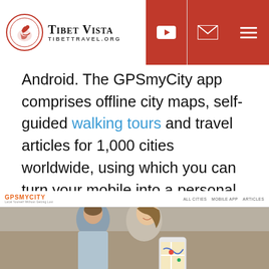Tibet Vista | TIBETTRAVEL.ORG
Android. The GPSmyCity app comprises offline city maps, self-guided walking tours and travel articles for 1,000 cities worldwide, using which you can turn your mobile into a personal tour guide. With this app in your smart phone you can venture almost anywhere, confident as a local. The GPSmyCity app works offline so there's no need to worry about roaming charges when traveling abroad.
[Figure (screenshot): GPSmyCity website screenshot showing a couple looking at a phone with a map app displayed on a smartphone screen]